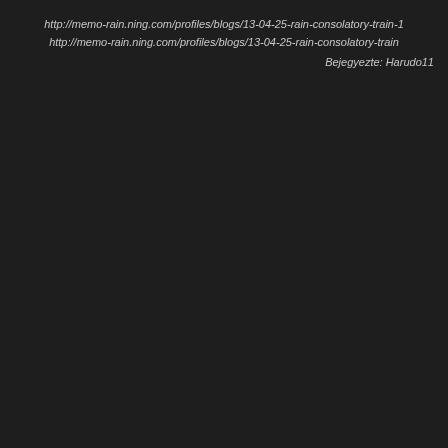http://memo-rain.ning.com/profiles/blogs/13-04-25-rain-consolatory-train-1
http://memo-rain.ning.com/profiles/blogs/13-04-25-rain-consolatory-train
Bejegyezte: Harudo11